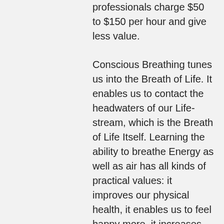professionals charge $50 to $150 per hour and give less value.
Conscious Breathing tunes us into the Breath of Life. It enables us to contact the headwaters of our Life-stream, which is the Breath of Life Itself. Learning the ability to breathe Energy as well as air has all kinds of practical values: it improves our physical health, it enables us to feel happy more, it increases our ability to receive love and give love which makes our relationships work better.
Conscious Breathing improves our Energy level, which enables us to produce more and increase our income. Therefore investing $1000 in 10 Conscious Breathing lessons comes back to us many times over in